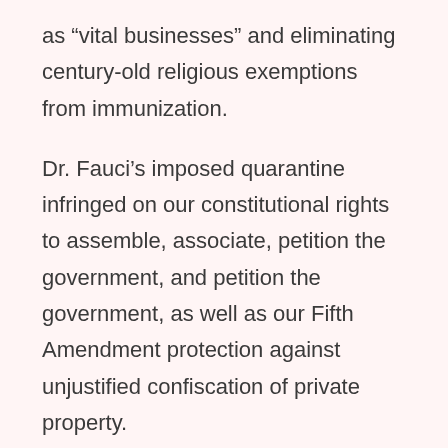as “vital businesses” and eliminating century-old religious exemptions from immunization.
Dr. Fauci’s imposed quarantine infringed on our constitutional rights to assemble, associate, petition the government, and petition the government, as well as our Fifth Amendment protection against unjustified confiscation of private property.
Without public hearings or rulemaking, his arbitrary mask and lockdown diktats suffocated our Fourth and Fourteenth Amendment due process safeguards. His tracking and tracing activities trampled on our Fourth Amendment